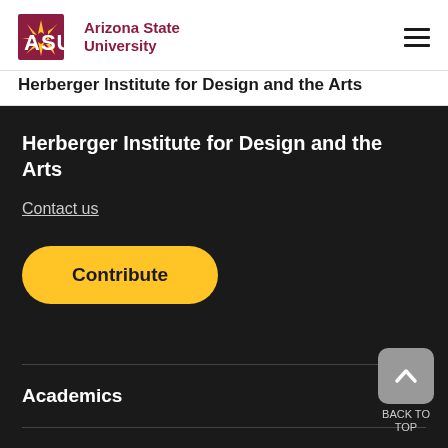[Figure (logo): ASU sunburst logo with text 'ASU Arizona State University' in maroon]
Herberger Institute for Design and the Arts
Herberger Institute for Design and the Arts
Contact us
Contribute
Academics
Connect
BACK TO TOP